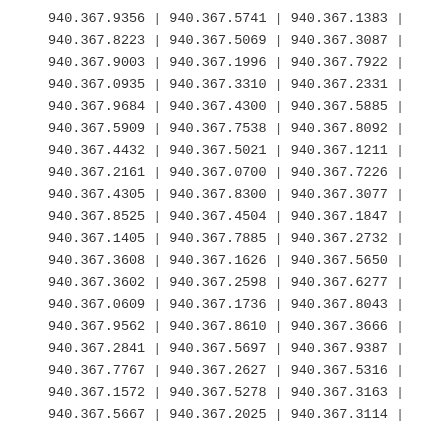| 940.367.9356 | | | 940.367.5741 | | | 940.367.1383 | | |
| 940.367.8223 | | | 940.367.5069 | | | 940.367.3087 | | |
| 940.367.9003 | | | 940.367.1996 | | | 940.367.7922 | | |
| 940.367.0935 | | | 940.367.3310 | | | 940.367.2331 | | |
| 940.367.9684 | | | 940.367.4300 | | | 940.367.5885 | | |
| 940.367.5909 | | | 940.367.7538 | | | 940.367.8092 | | |
| 940.367.4432 | | | 940.367.5021 | | | 940.367.1211 | | |
| 940.367.2161 | | | 940.367.0700 | | | 940.367.7226 | | |
| 940.367.4305 | | | 940.367.8300 | | | 940.367.3077 | | |
| 940.367.8525 | | | 940.367.4504 | | | 940.367.1847 | | |
| 940.367.1405 | | | 940.367.7885 | | | 940.367.2732 | | |
| 940.367.3608 | | | 940.367.1626 | | | 940.367.5650 | | |
| 940.367.3602 | | | 940.367.2598 | | | 940.367.6277 | | |
| 940.367.0609 | | | 940.367.1736 | | | 940.367.8043 | | |
| 940.367.9562 | | | 940.367.8610 | | | 940.367.3666 | | |
| 940.367.2841 | | | 940.367.5697 | | | 940.367.9387 | | |
| 940.367.7767 | | | 940.367.2627 | | | 940.367.5316 | | |
| 940.367.1572 | | | 940.367.5278 | | | 940.367.3163 | | |
| 940.367.5667 | | | 940.367.2025 | | | 940.367.3114 | | |